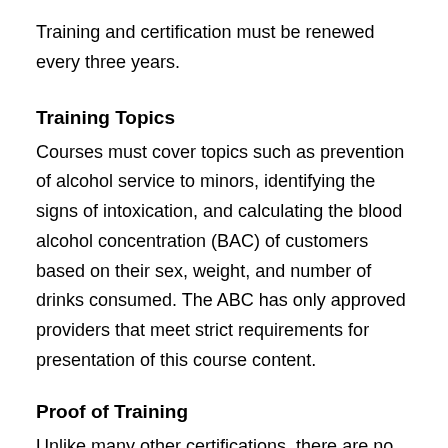Training and certification must be renewed every three years.
Training Topics
Courses must cover topics such as prevention of alcohol service to minors, identifying the signs of intoxication, and calculating the blood alcohol concentration (BAC) of customers based on their sex, weight, and number of drinks consumed. The ABC has only approved providers that meet strict requirements for presentation of this course content.
Proof of Training
Unlike many other certifications, there are no physical or downloadable certificates issued to certified servers. Instead, the ABC issues a certificate number to alcohol servers who have completed the exam; the certificate number is valid for three years. Licensees will be able to verify that their servers are certified via a feature being implemented on the RBS